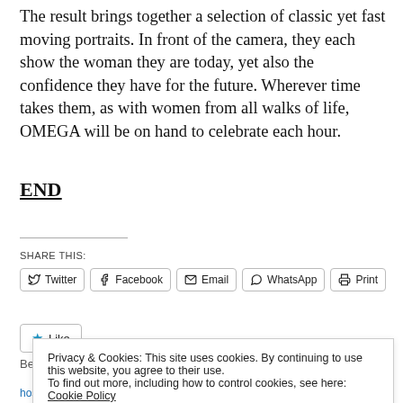The result brings together a selection of classic yet fast moving portraits. In front of the camera, they each show the woman they are today, yet also the confidence they have for the future. Wherever time takes them, as with women from all walks of life, OMEGA will be on hand to celebrate each hour.
END
SHARE THIS:
Twitter  Facebook  Email  WhatsApp  Print
Like
Be the first to like this.
Privacy & Cookies: This site uses cookies. By continuing to use this website, you agree to their use.
To find out more, including how to control cookies, see here: Cookie Policy
Close and accept
hosts panel discussion
June 6, 2022